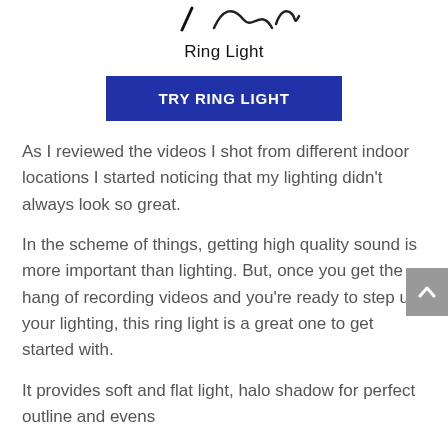[Figure (illustration): Partial view of a ring light illustration with decorative script text at top]
Ring Light
TRY RING LIGHT
As I reviewed the videos I shot from different indoor locations I started noticing that my lighting didn’t always look so great.
In the scheme of things, getting high quality sound is more important than lighting. But, once you get the hang of recording videos and you’re ready to step up your lighting, this ring light is a great one to get started with.
It provides soft and flat light, halo shadow for perfect outline and evens